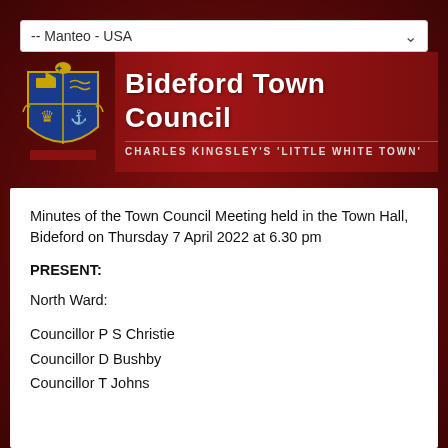[Figure (screenshot): Dropdown selector showing '-- Manteo - USA' with a chevron arrow on the right]
[Figure (logo): Bideford Town Council logo with coat of arms on the left and banner reading 'Bideford Town Council' with tagline 'CHARLES KINGSLEY'S LITTLE WHITE TOWN']
Minutes of the Town Council Meeting held in the Town Hall, Bideford on Thursday 7 April 2022 at 6.30 pm
PRESENT:
North Ward:
Councillor P S Christie
Councillor D Bushby
Councillor T Johns